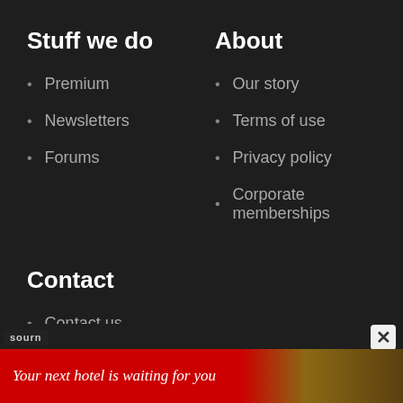Stuff we do
Premium
Newsletters
Forums
About
Our story
Terms of use
Privacy policy
Corporate memberships
Contact
Contact us
FAQ
[Figure (other): Advertisement banner: 'Your next hotel is waiting for you' with hotel background image]